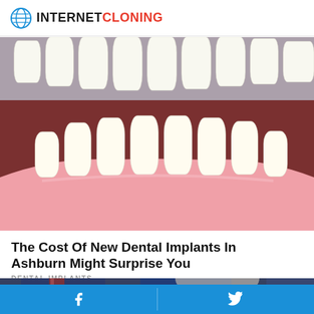INTERNET CLONING
[Figure (photo): Close-up 3D render of dental implants showing lower and upper rows of white teeth with pink gum tissue]
The Cost Of New Dental Implants In Ashburn Might Surprise You
DENTAL IMPLANTS
[Figure (photo): Partial photo of a person wearing a suit with a tie, appearing to be an older individual]
[Figure (other): Blue social media bar with Facebook and Twitter icons at the bottom of the page]